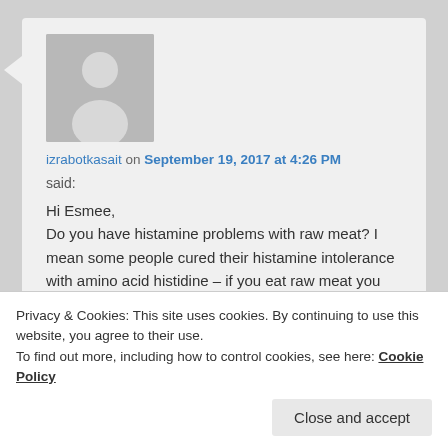[Figure (illustration): Grey avatar placeholder image showing a generic person silhouette]
izrabotkasait on September 19, 2017 at 4:26 PM
said:
Hi Esmee,
Do you have histamine problems with raw meat? I mean some people cured their histamine intolerance with amino acid histidine – if you eat raw meat you should be getting a lot of histidine
Privacy & Cookies: This site uses cookies. By continuing to use this website, you agree to their use.
To find out more, including how to control cookies, see here: Cookie Policy
Close and accept